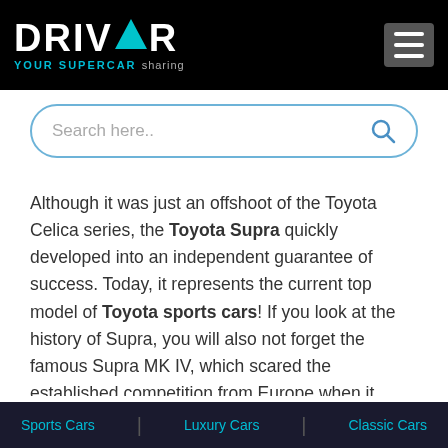DRIVAR YOUR SUPERCAR sharing
[Figure (screenshot): Search bar with placeholder text 'Search here..' and a search icon]
Although it was just an offshoot of the Toyota Celica series, the Toyota Supra quickly developed into an independent guarantee of success. Today, it represents the current top model of Toyota sports cars! If you look at the history of Supra, you will also not forget the famous Supra MK IV, which scared the established competition from Europe when it appeared in the early 1990s. To this day, this generation enjoys unparalleled popularity with tuners around the world thanks to its extremely durable drive train! After the Supra had been quiet for a long time, Toyota returned with a bang in 2019. The car is...
Sports Cars | Luxury Cars | Classic Cars